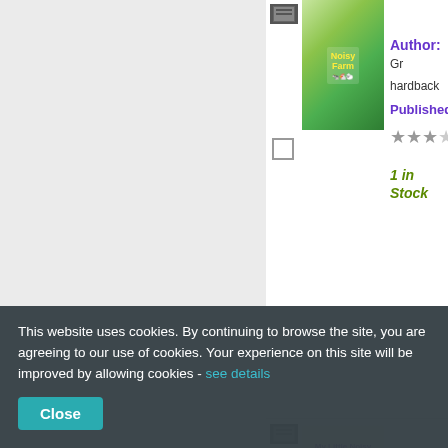[Figure (screenshot): Book listing page from an online bookshop showing two book entries. First book: Noisy Farm (children's book with farm animals cover), hardback, Author: Gr..., Published:..., 3-star rating, 1 in Stock. Second book: My Little Noisy Book of Puppies, Author: Pr..., Published:... Each listing has a checkbox and a book icon.]
This website uses cookies. By continuing to browse the site, you are agreeing to our use of cookies. Your experience on this site will be improved by allowing cookies - see details
Close